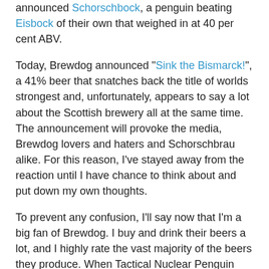announced Schorschbock, a penguin beating Eisbock of their own that weighed in at 40 per cent ABV.
Today, Brewdog announced "Sink the Bismarck!", a 41% beer that snatches back the title of worlds strongest and, unfortunately, appears to say a lot about the Scottish brewery all at the same time. The announcement will provoke the media, Brewdog lovers and haters and Schorschbrau alike. For this reason, I've stayed away from the reaction until I have chance to think about and put down my own thoughts.
To prevent any confusion, I'll say now that I'm a big fan of Brewdog. I buy and drink their beers a lot, and I highly rate the vast majority of the beers they produce. When Tactical Nuclear Penguin (TNP) was announced, I saw it as another boundary pushing beer. The ice-distillation technique is not new, embracing that style and producing something unique and delicious at the same time is exactly what Brewdog have been about.
You can argue that TNP wasn't a beer and that by distilling a